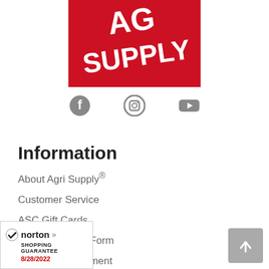[Figure (logo): Agri Supply logo — red background with white bold text 'AG SUPPLY' at an angle]
[Figure (infographic): Social media icons: Facebook, Instagram, YouTube — all in gray]
Information
About Agri Supply®
Customer Service
ASC Gift Cards
Printable Order Form
Track Your Shipment
[Figure (logo): Norton Shopping Guarantee badge with checkmark, dated 8/28/2022]
[Figure (other): Back to top button — gray square with upward arrow]